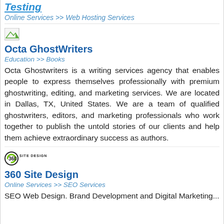Testing
Online Services >> Web Hosting Services
[Figure (logo): Small placeholder image icon]
Octa GhostWriters
Education >> Books
Octa Ghostwriters is a writing services agency that enables people to express themselves professionally with premium ghostwriting, editing, and marketing services. We are located in Dallas, TX, United States. We are a team of qualified ghostwriters, editors, and marketing professionals who work together to publish the untold stories of our clients and help them achieve extraordinary success as authors.
[Figure (logo): 360 Site Design logo with circular icon and text]
360 Site Design
Online Services >> SEO Services
SEO Web Design. Brand Development and Digital Marketing...